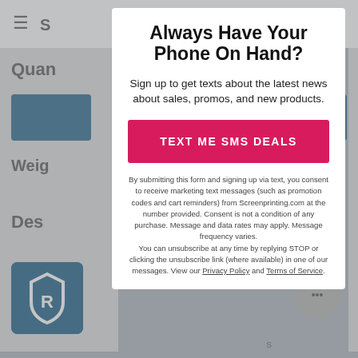[Figure (screenshot): Background website page showing navigation bar with hamburger menu, logo S, cart icon with badge 0, quantity section, blue add to cart button, weight section, description section, blue shield logo icon, and chat button]
Always Have Your Phone On Hand?
Sign up to get texts about the latest news about sales, promos, and new products.
TEXT ME SMS DEALS
By submitting this form and signing up via text, you consent to receive marketing text messages (such as promotion codes and cart reminders) from Screenprinting.com at the number provided. Consent is not a condition of any purchase. Message and data rates may apply. Message frequency varies. You can unsubscribe at any time by replying STOP or clicking the unsubscribe link (where available) in one of our messages. View our Privacy Policy and Terms of Service.